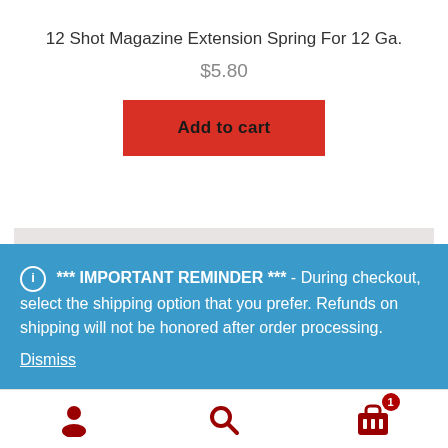12 Shot Magazine Extension Spring For 12 Ga.
$5.80
Add to cart
*** IMPORTANT REMINDER *** - During checkout, select the shipping option that you prefer. Refunds on shipping will not be honored after order processing. Dismiss